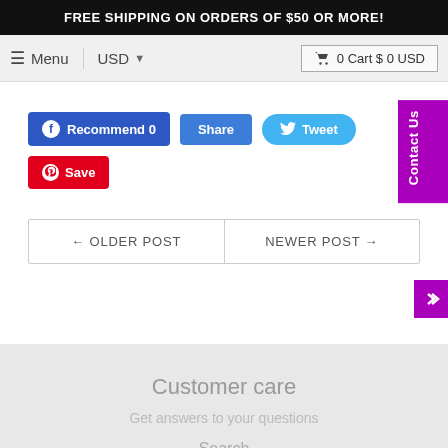FREE SHIPPING ON ORDERS OF $50 OR MORE!
≡ Menu   USD ▾   🛒 0 Cart $ 0 USD
[Figure (screenshot): Social sharing buttons: Facebook Recommend 0, Share, Tweet, Save (Pinterest)]
← OLDER POST   NEWER POST →
Customer care
Get answers to your questions
Search